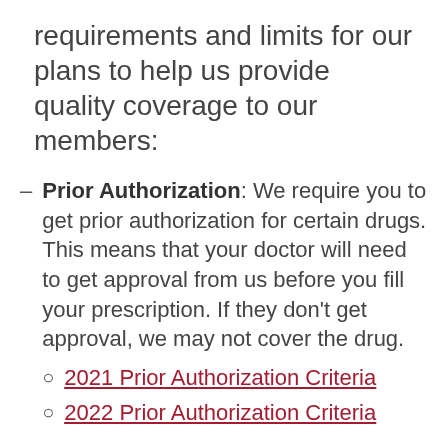requirements and limits for our plans to help us provide quality coverage to our members:
Prior Authorization: We require you to get prior authorization for certain drugs. This means that your doctor will need to get approval from us before you fill your prescription. If they don't get approval, we may not cover the drug.
2021 Prior Authorization Criteria
2022 Prior Authorization Criteria
Step Therapy: In some cases, we